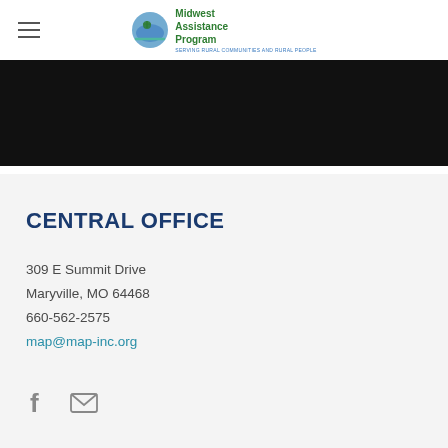Midwest Assistance Program
[Figure (photo): Dark photo strip showing a partial figure against black background]
CENTRAL OFFICE
309 E Summit Drive
Maryville, MO 64468
660-562-2575
map@map-inc.org
[Figure (infographic): Facebook icon and email/envelope icon social media links]